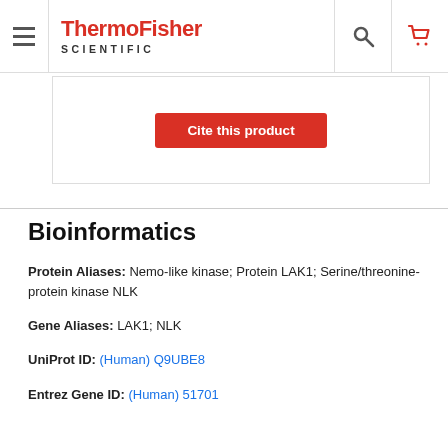ThermoFisher SCIENTIFIC
[Figure (screenshot): Partially visible red button labeled 'Cite this product' inside a bordered box]
Bioinformatics
Protein Aliases: Nemo-like kinase; Protein LAK1; Serine/threonine-protein kinase NLK
Gene Aliases: LAK1; NLK
UniProt ID: (Human) Q9UBE8
Entrez Gene ID: (Human) 51701